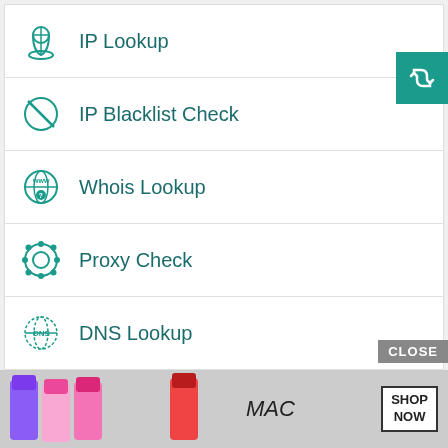IP Lookup
IP Blacklist Check
Whois Lookup
Proxy Check
DNS Lookup
IP to Hostname lookup
Hostname to IP lookup
[Figure (screenshot): MAC cosmetics advertisement banner with lipstick images and SHOP NOW button, with CLOSE button overlay]